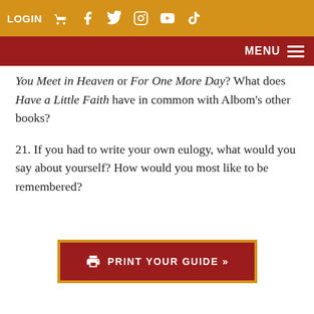LOGIN [cart] [facebook] [twitter] [instagram] [youtube] [tiktok]
MENU
You Meet in Heaven or For One More Day? What does Have a Little Faith have in common with Albom's other books?
21. If you had to write your own eulogy, what would you say about yourself? How would you most like to be remembered?
PRINT YOUR GUIDE »